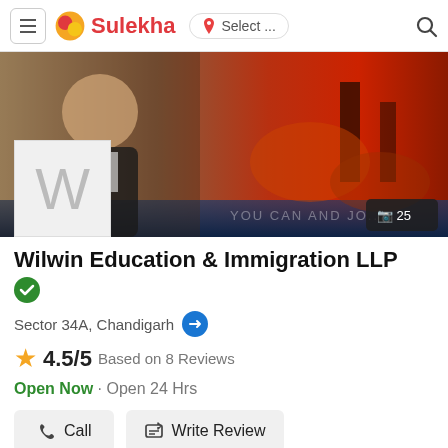Sulekha — Select ... (location)
[Figure (screenshot): Banner image of a woman in business attire with dark/orange blurred background; Sulekha business listing header photo with photo count badge showing 25]
Wilwin Education & Immigration LLP
Sector 34A, Chandigarh
4.5/5 Based on 8 Reviews
Open Now · Open 24 Hrs
Call   Write Review